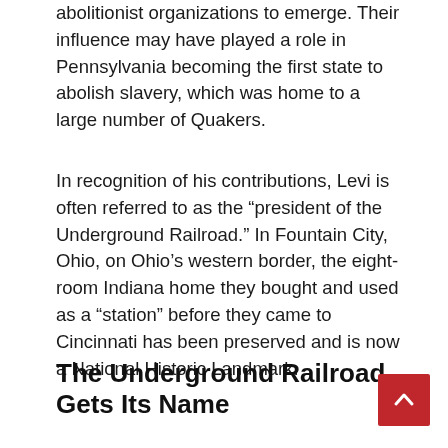abolitionist organizations to emerge. Their influence may have played a role in Pennsylvania becoming the first state to abolish slavery, which was home to a large number of Quakers.
In recognition of his contributions, Levi is often referred to as the “president of the Underground Railroad.” In Fountain City, Ohio, on Ohio’s western border, the eight-room Indiana home they bought and used as a “station” before they came to Cincinnati has been preserved and is now a National Historic Landmark.
The Underground Railroad Gets Its Name